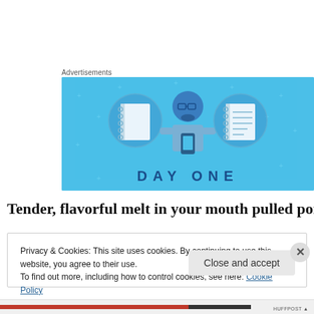Advertisements
[Figure (illustration): Day One app advertisement banner on a light blue background. Shows a cartoon person holding a phone flanked by two circular icons — a blank notebook on the left and a lined notebook on the right. Text reads 'DAY ONE' at the bottom.]
Tender, flavorful melt in your mouth pulled pork that is slow
Privacy & Cookies: This site uses cookies. By continuing to use this website, you agree to their use.
To find out more, including how to control cookies, see here: Cookie Policy